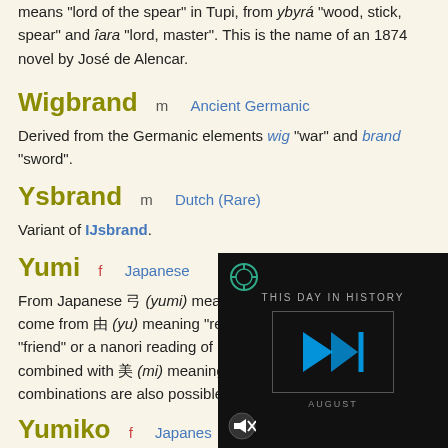means "lord of the spear" in Tupi, from ybyra "wood, stick, spear" and iara "lord, master". This is the name of an 1874 novel by José de Alencar.
Wigbrand   m   Ancient Germanic
Derived from the Germanic elements wig "war" and brand "sword".
Ysbrand   m   Dutch (Rare)
Variant of IJsbrand.
Yumi   f   Japanese
From Japanese 弓 (yumi) meaning "archery bow". It can also come from 由 (yu) meaning "reason, cause", 友 (yu) meaning "friend" or a nanori reading of 弓 (yu) meaning "archery bow" combined with 美 (mi) meaning "beautiful". Other kanji or kanji combinations are also possible.
Yumiko   f   Japanese
From Japanese 弓 (yumi) meaning... "reason, cause" with 子 (mi)... meaning "child". Other kanji...
[Figure (screenshot): Video overlay showing 'This Day in History' player with blue forward/play icon, mute button, and 'AUGUST' label on dark background]